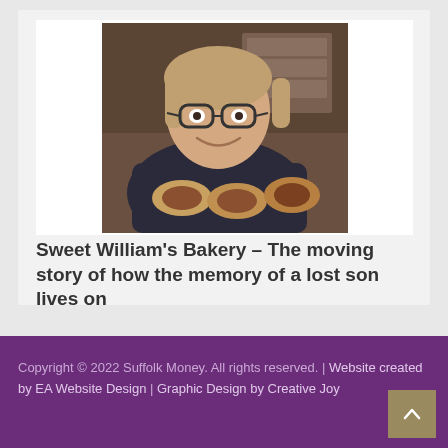[Figure (photo): A smiling woman with glasses holding baked goods, inside what appears to be a bakery.]
Sweet William's Bakery – The moving story of how the memory of a lost son lives on
by admin
Copyright © 2022 Suffolk Money. All rights reserved. | Website created by EA Website Design | Graphic Design by Creative Joy